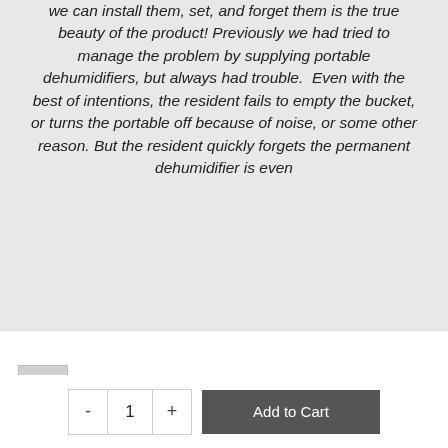we can install them, set, and forget them is the true beauty of the product! Previously we had tried to manage the problem by supplying portable dehumidifiers, but always had trouble.  Even with the best of intentions, the resident fails to empty the bucket, or turns the portable off because of noise, or some other reason. But the resident quickly forgets the permanent dehumidifier is even
IW25-2 Front Cover Replacement   $40.00
- 1 + Add to Cart